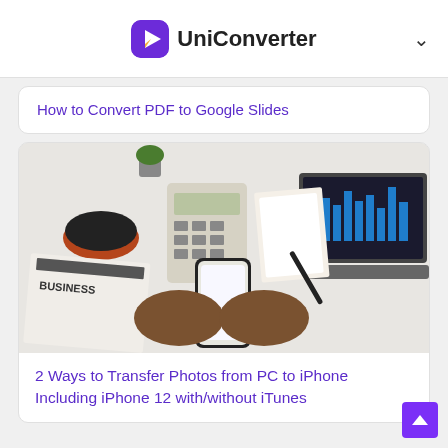UniConverter
How to Convert PDF to Google Slides
[Figure (photo): Overhead view of a business desk with a laptop showing charts, a calculator, a coffee cup, papers, a smartphone being held by hands in a business suit, a pen, and a business newspaper.]
2 Ways to Transfer Photos from PC to iPhone Including iPhone 12 with/without iTunes